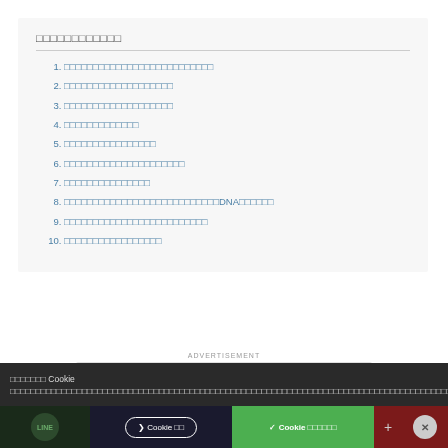□□□□□□□□□□□□
□□□□□□□□□□□□□□□□□□□□□□□□□□
□□□□□□□□□□□□□□□□□□□
□□□□□□□□□□□□□□□□□□□
□□□□□□□□□□□□□
□□□□□□□□□□□□□□□□
□□□□□□□□□□□□□□□□□□□□□
□□□□□□□□□□□□□□□
□□□□□□□□□□□□□□□□□□□□□□□□□□□DNA□□□□□□
□□□□□□□□□□□□□□□□□□□□□□□□□
□□□□□□□□□□□□□□□□□
ADVERTISEMENT
[Figure (logo): Nature Research Academies logo on grey advertisement background]
□□□□□□□ Cookie □□□□□□□□□□□□□□□□□□□□□□□□□□□□□□□□□□□□□□□□□□□□□□□□□□□□□□□□□□□□□□□□□□□□□□□□□□□□□□□□□□□□□□□□□□□□□□□□□□□□□□□□□□□□□□□□□□□□□□□□□□□□□□□□□□□□□□□□□□□□□□□□□□□□□□□□□□□□□□□□□□□□□□□□□□□□□□□□□□□□□□□□□□□□□□□□□□□□□□□□□□□□□□□□□□□□□□□□□□□□□□□□□□□□□□□□□□□□□□□□□□□□□□□□□□□□□□□□□□□□□□□□□□□□□
❯ Cookie □□
✓ Cookie □□□□□□